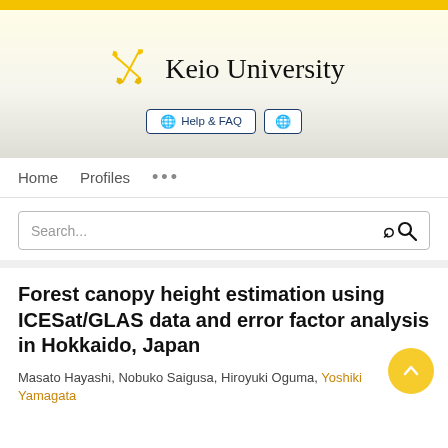[Figure (logo): Keio University logo with crossed pens/quills icon and university name]
Help & FAQ | globe icon
Home   Profiles   ...
Search...
Forest canopy height estimation using ICESat/GLAS data and error factor analysis in Hokkaido, Japan
Masato Hayashi, Nobuko Saigusa, Hiroyuki Oguma, Yoshiki Yamagata